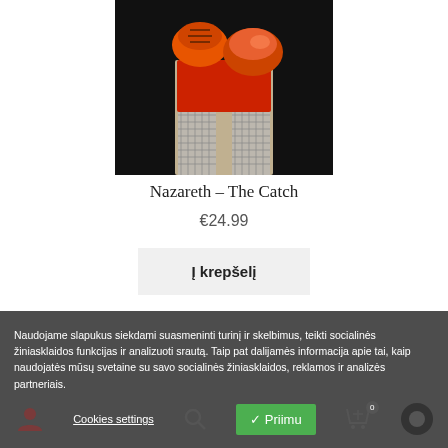[Figure (photo): Product photo of Nazareth - The Catch album cover, showing orange boxing glove and baseball mitt against dark background with fishnet stockings]
Nazareth – The Catch
€24.99
Į krepšelį
Naudojame slapukus siekdami suasmeninti turinį ir skelbimus, teikti socialinės žiniasklaidos funkcijas ir analizuoti srautą. Taip pat dalijamės informacija apie tai, kaip naudojatės mūsų svetaine su savo socialinės žiniasklaidos, reklamos ir analizės partneriais.
Cookies settings
✓ Priimu